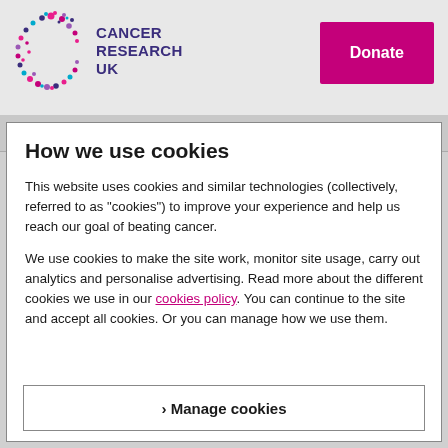[Figure (logo): Cancer Research UK logo with colorful C shape made of dots and CANCER RESEARCH UK text in dark purple]
Donate
How we use cookies
This website uses cookies and similar technologies (collectively, referred to as "cookies") to improve your experience and help us reach our goal of beating cancer.
We use cookies to make the site work, monitor site usage, carry out analytics and personalise advertising. Read more about the different cookies we use in our cookies policy. You can continue to the site and accept all cookies. Or you can manage how we use them.
› Manage cookies